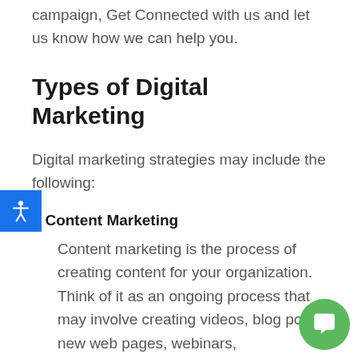campaign, Get Connected with us and let us know how we can help you.
Types of Digital Marketing
Digital marketing strategies may include the following:
Content Marketing
Content marketing is the process of creating content for your organization. Think of it as an ongoing process that may involve creating videos, blog posts, new web pages, webinars, infographics, white papers, etc. KMJ can help you to maximize your content by repurposing content across various channels and